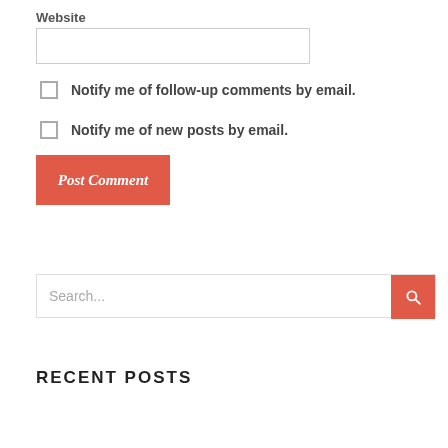Website
Notify me of follow-up comments by email.
Notify me of new posts by email.
Post Comment
Search...
RECENT POSTS